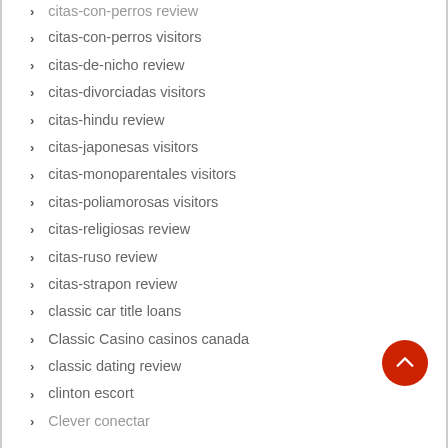citas-con-perros review
citas-con-perros visitors
citas-de-nicho review
citas-divorciadas visitors
citas-hindu review
citas-japonesas visitors
citas-monoparentales visitors
citas-poliamorosas visitors
citas-religiosas review
citas-ruso review
citas-strapon review
classic car title loans
Classic Casino casinos canada
classic dating review
clinton escort
Clever conectar